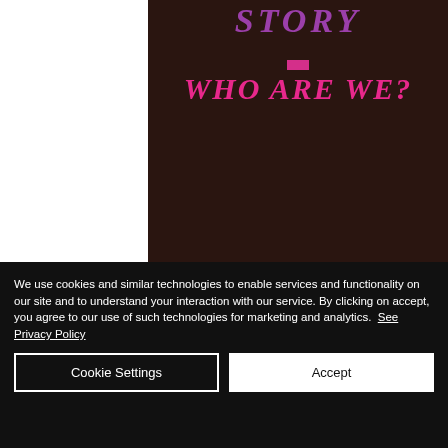STORY
WHO ARE WE?
We use cookies and similar technologies to enable services and functionality on our site and to understand your interaction with our service. By clicking on accept, you agree to our use of such technologies for marketing and analytics.  See Privacy Policy